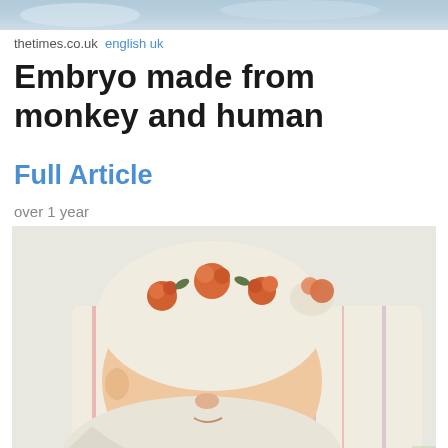[Figure (photo): Partial top image showing sky/outdoor scene, cropped at top of page]
thetimes.co.uk  english uk
Embryo made from monkey and human
Full Article
over 1 year
[Figure (photo): Photo of a newborn baby sleeping, wearing a floral hat, swaddled in a striped hospital blanket]
drudgereport.com  english us
Baby born from 27-year-old embryo!